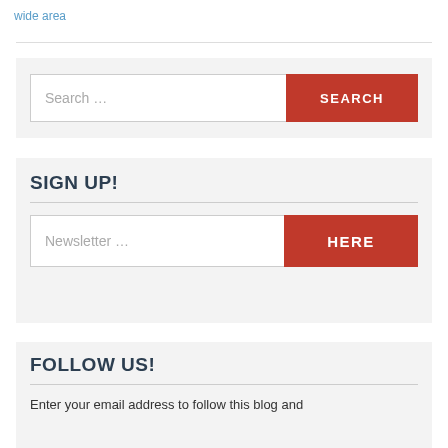wide area
[Figure (screenshot): Search bar with text input showing 'Search ...' placeholder and a red SEARCH button]
SIGN UP!
[Figure (screenshot): Newsletter input field with placeholder 'Newsletter ...' and red HERE button]
FOLLOW US!
Enter your email address to follow this blog and